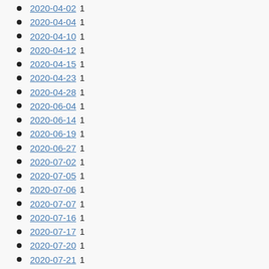2020-04-02 1
2020-04-04 1
2020-04-10 1
2020-04-12 1
2020-04-15 1
2020-04-23 1
2020-04-28 1
2020-06-04 1
2020-06-14 1
2020-06-19 1
2020-06-27 1
2020-07-02 1
2020-07-05 1
2020-07-06 1
2020-07-07 1
2020-07-16 1
2020-07-17 1
2020-07-20 1
2020-07-21 1